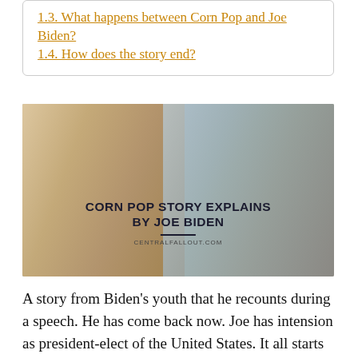1.3. What happens between Corn Pop and Joe Biden?
1.4. How does the story end?
[Figure (photo): Two older men smiling — one on the left appearing to be Joe Biden, one on the right an older Black man — with overlaid text reading 'CORN POP STORY EXPLAINS BY JOE BIDEN' and website 'CENTRALFALLOUT.COM']
A story from Biden's youth that he recounts during a speech. He has come back now. Joe has intension as president-elect of the United States. It all starts when 19-year-old Joe Biden